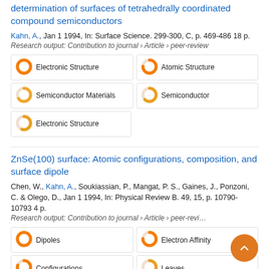determination of surfaces of tetrahedrally coordinated compound semiconductors
Kahn, A., Jan 1 1994, In: Surface Science. 299-300, C, p. 469-486 18 p.
Research output: Contribution to journal › Article › peer-review
[Figure (infographic): Keyword badges: Electronic Structure (100%), Atomic Structure (75%), Semiconductor Materials (65%), Semiconductor (63%), Electronic Structure (55%)]
ZnSe(100) surface: Atomic configurations, composition, and surface dipole
Chen, W., Kahn, A., Soukiassian, P., Mangat, P. S., Gaines, J., Ponzoni, C. & Olego, D., Jan 1 1994, In: Physical Review B. 49, 15, p. 10790-10793 4 p.
Research output: Contribution to journal › Article › peer-review
[Figure (infographic): Keyword badges: Dipoles (100%), Electron Affinity (75%), Configurations (80%), Leaves (50%)]